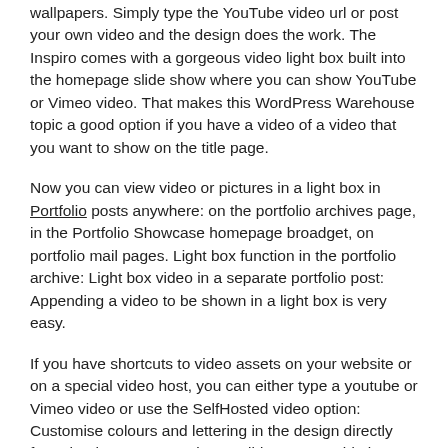wallpapers. Simply type the YouTube video url or post your own video and the design does the work. The Inspiro comes with a gorgeous video light box built into the homepage slide show where you can show YouTube or Vimeo video. That makes this WordPress Warehouse topic a good option if you have a video of a video that you want to show on the title page.
Now you can view video or pictures in a light box in Portfolio posts anywhere: on the portfolio archives page, in the Portfolio Showcase homepage broadget, on portfolio mail pages. Light box function in the portfolio archive: Light box video in a separate portfolio post: Appending a video to be shown in a light box is very easy.
If you have shortcuts to video assets on your website or on a special video host, you can either type a youtube or Vimeo video or use the SelfHosted video option: Customise colours and lettering in the design directly from the themes customiser. Build your own side bar with the available Widget.
And you can set your homepage to show the slide show at the top and your latest blogs at the bottom. Homepages can be simply generated using integrated broadgets such as Portfolio